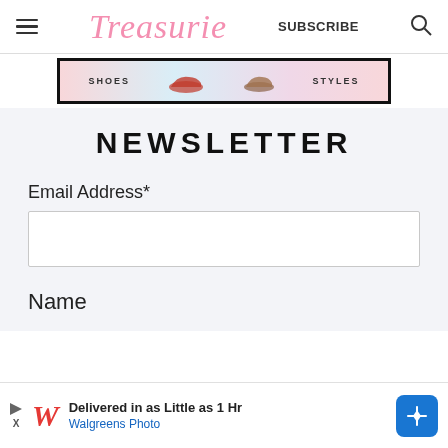Treasurie — SUBSCRIBE
[Figure (photo): Partial view of a shoe advertisement banner with colorful shoes on a light background, framed with a thick black border.]
NEWSLETTER
Email Address*
Name
[Figure (infographic): Walgreens Photo advertisement banner: 'Delivered in as Little as 1 Hr — Walgreens Photo' with Walgreens cursive W logo and blue direction sign icon.]